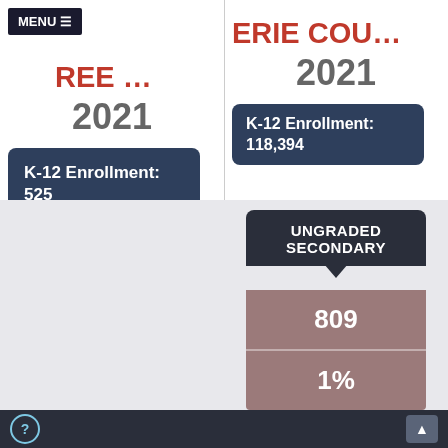MENU
BIG TREE ... 2021
ERIE COU... 2021
K-12 Enrollment: 525
K-12 Enrollment: 118,394
UNGRADED SECONDARY
809
1%
? ▲